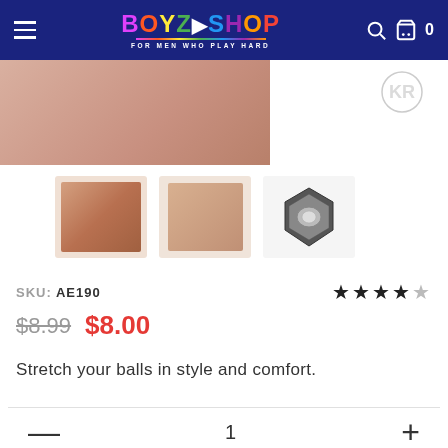BOYZ SHOP — FOR MEN WHO PLAY HARD
[Figure (photo): Product photo showing male anatomy with cock ring]
[Figure (photo): Three product thumbnail images: product in use, product on finger, 3D render of the ring device]
SKU: AE190
★★★★★
$8.99  $8.00
Stretch your balls in style and comfort.
— 1 +